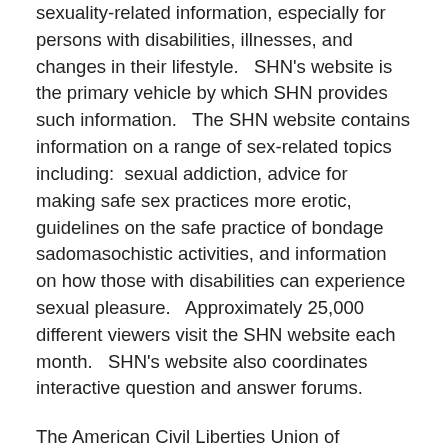sexuality-related information, especially for persons with disabilities, illnesses, and changes in their lifestyle.   SHN's website is the primary vehicle by which SHN provides such information.   The SHN website contains information on a range of sex-related topics including:  sexual addiction, advice for making safe sex practices more erotic, guidelines on the safe practice of bondage sadomasochistic activities, and information on how those with disabilities can experience sexual pleasure.   Approximately 25,000 different viewers visit the SHN website each month.   SHN's website also coordinates interactive question and answer forums.
The American Civil Liberties Union of Vermont (“ACLU-VT”) is an affiliate of the national ACLU. ACLU-VT maintains a website that links to the website of the national ACLU. Although ACLU-VT does not include sex-related materials on its own website, the national ACLU includes materials on topics such as birth control, safe sex practices, gay and lesbian rights, abortion, and sex education.